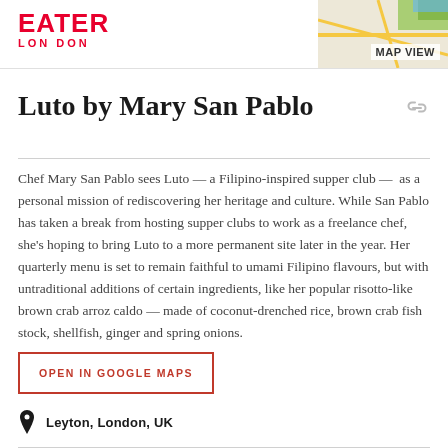EATER LONDON
[Figure (map): Small Google Maps thumbnail in top-right corner of the header with MAP VIEW label]
Luto by Mary San Pablo
Chef Mary San Pablo sees Luto — a Filipino-inspired supper club —  as a personal mission of rediscovering her heritage and culture. While San Pablo has taken a break from hosting supper clubs to work as a freelance chef, she's hoping to bring Luto to a more permanent site later in the year. Her quarterly menu is set to remain faithful to umami Filipino flavours, but with untraditional additions of certain ingredients, like her popular risotto-like brown crab arroz caldo — made of coconut-drenched rice, brown crab fish stock, shellfish, ginger and spring onions.
OPEN IN GOOGLE MAPS
Leyton, London, UK